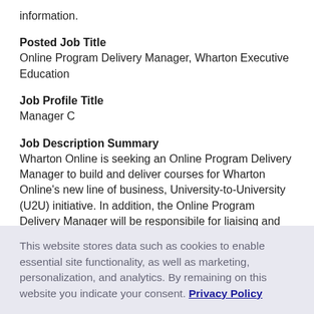information.
Posted Job Title
Online Program Delivery Manager, Wharton Executive Education
Job Profile Title
Manager C
Job Description Summary
Wharton Online is seeking an Online Program Delivery Manager to build and deliver courses for Wharton Online's new line of business, University-to-University (U2U) initiative. In addition, the Online Program Delivery Manager will be responsibile for liaising and maintaining
This website stores data such as cookies to enable essential site functionality, as well as marketing, personalization, and analytics. By remaining on this website you indicate your consent. Privacy Policy